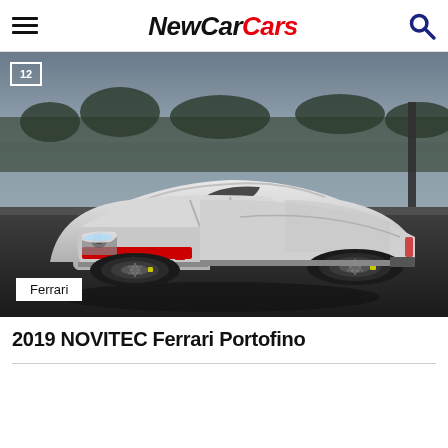NewCarCars
[Figure (photo): White 2019 NOVITEC Ferrari Portofino convertible photographed outdoors near water, with a dark moody background. Image counter badge showing '12' in top left corner and 'Ferrari' badge in bottom left corner.]
2019 NOVITEC Ferrari Portofino